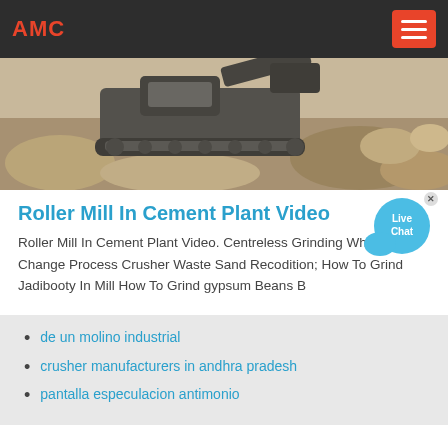AMC
[Figure (photo): Construction/mining machinery (appears to be an excavator or roller) on rocky terrain, outdoor setting.]
Roller Mill In Cement Plant Video
Roller Mill In Cement Plant Video. Centreless Grinding Wheel Change Process Crusher Waste Sand Recodition; How To Grind Jadibooty In Mill How To Grind gypsum Beans B
de un molino industrial
crusher manufacturers in andhra pradesh
pantalla especulacion antimonio